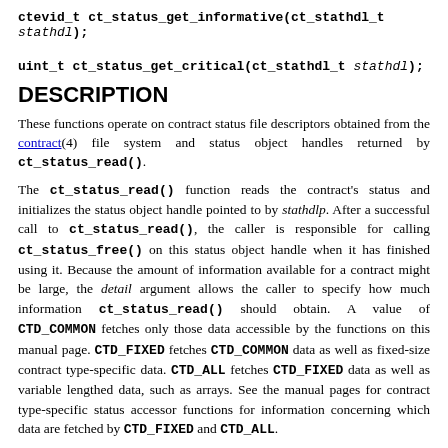ctevid_t ct_status_get_informative(ct_stathdl_t stathdl);
uint_t ct_status_get_critical(ct_stathdl_t stathdl);
DESCRIPTION
These functions operate on contract status file descriptors obtained from the contract(4) file system and status object handles returned by ct_status_read().
The ct_status_read() function reads the contract's status and initializes the status object handle pointed to by stathdlp. After a successful call to ct_status_read(), the caller is responsible for calling ct_status_free() on this status object handle when it has finished using it. Because the amount of information available for a contract might be large, the detail argument allows the caller to specify how much information ct_status_read() should obtain. A value of CTD_COMMON fetches only those data accessible by the functions on this manual page. CTD_FIXED fetches CTD_COMMON data as well as fixed-size contract type-specific data. CTD_ALL fetches CTD_FIXED data as well as variable lengthed data, such as arrays. See the manual pages for contract type-specific status accessor functions for information concerning which data are fetched by CTD_FIXED and CTD_ALL.